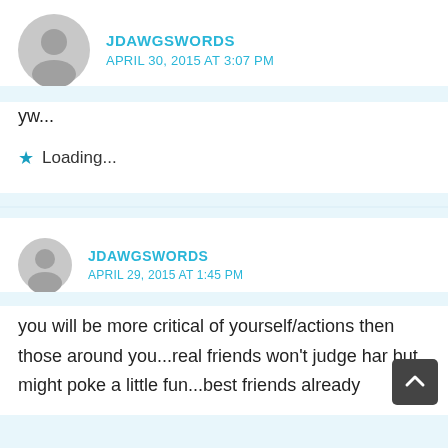JDAWGSWORDS
APRIL 30, 2015 AT 3:07 PM
yw...
Loading...
JDAWGSWORDS
APRIL 29, 2015 AT 1:45 PM
you will be more critical of yourself/actions then those around you...real friends won't judge har but might poke a little fun...best friends already